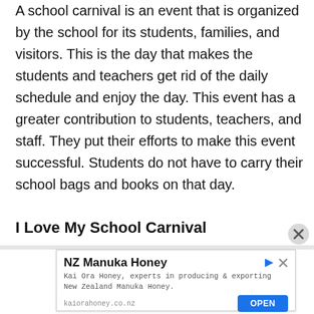A school carnival is an event that is organized by the school for its students, families, and visitors. This is the day that makes the students and teachers get rid of the daily schedule and enjoy the day. This event has a greater contribution to students, teachers, and staff. They put their efforts to make this event successful. Students do not have to carry their school bags and books on that day.
I Love My School Carnival
[Figure (other): Advertisement banner for NZ Manuka Honey by Kai Ora Honey with OPEN button and close (X) icon]